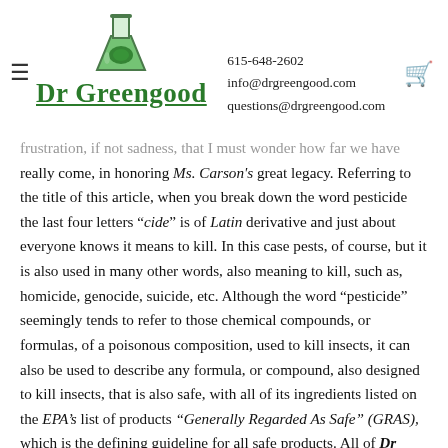Dr Greengood | 615-648-2602 | info@drgreengood.com | questions@drgreengood.com
frustration, if not sadness, that I must wonder how far we have really come, in honoring Ms. Carson's great legacy. Referring to the title of this article, when you break down the word pesticide the last four letters "cide" is of Latin derivative and just about everyone knows it means to kill. In this case pests, of course, but it is also used in many other words, also meaning to kill, such as, homicide, genocide, suicide, etc. Although the word "pesticide" seemingly tends to refer to those chemical compounds, or formulas, of a poisonous composition, used to kill insects, it can also be used to describe any formula, or compound, also designed to kill insects, that is also safe, with all of its ingredients listed on the EPA's list of products "Generally Regarded As Safe" (GRAS), which is the defining guideline for all safe products. All of Dr